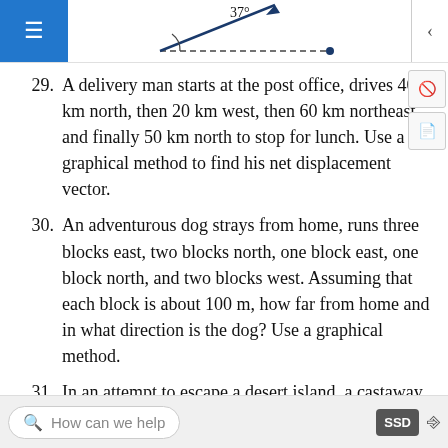[Figure (engineering-diagram): Partial view of an angle diagram showing 37 degrees with dashed horizontal line and angled line with arrow]
29. A delivery man starts at the post office, drives 40 km north, then 20 km west, then 60 km northeast, and finally 50 km north to stop for lunch. Use a graphical method to find his net displacement vector.
30. An adventurous dog strays from home, runs three blocks east, two blocks north, one block east, one block north, and two blocks west. Assuming that each block is about 100 m, how far from home and in what direction is the dog? Use a graphical method.
31. In an attempt to escape a desert island, a castaway builds a raft and sets out to sea.